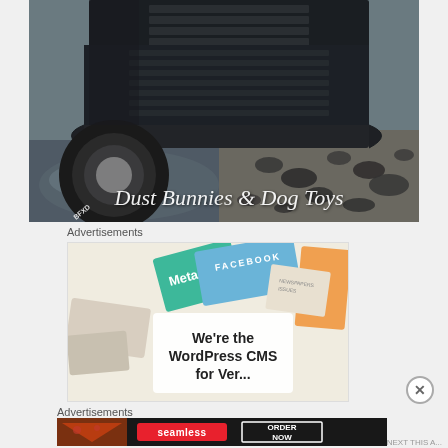[Figure (photo): Front view of an old dark-colored truck parked near a puddle and gravel, with the watermark text 'Dust Bunnies & Dog Toys' overlaid in white script at the bottom right]
Advertisements
[Figure (screenshot): Advertisement banner showing overlapping branded cards (Meta, Facebook) and text 'We're the WordPress CMS for Ver...' on a light background]
Advertisements
[Figure (screenshot): Seamless food delivery advertisement showing pizza slices on left, Seamless red badge logo in center, and 'ORDER NOW' button outline on dark background]